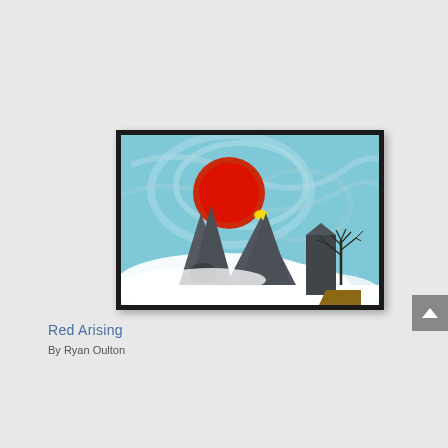[Figure (illustration): A framed painting titled 'Red Arising' showing mountains emerging from clouds with a large red sun rising behind them, and a bare tree on a cliff to the right, set against a swirling blue sky. The painting has a thick black frame.]
Red Arising
By Ryan Oulton